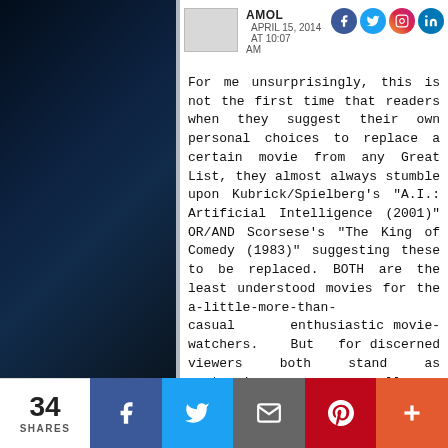AMOL  APRIL 15, 2014 AT 10:07 AM
For me unsurprisingly, this is not the first time that readers when they suggest their own personal choices to replace a certain movie from any Great List, they almost always stumble upon Kubrick/Spielberg's "A.I.: Artificial Intelligence (2001)" OR/AND Scorsese's "The King of Comedy (1983)" suggesting these to be replaced. BOTH are the least understood movies for the a-little-more-than-casual enthusiastic movie-watchers. But for discerned viewers both stand as masterpieces par excellence. "A.I.: Artificial Intelligence" is Kubrick's most ambitious project after "2001: A Space Odyssey (1968)" and should truly be so.
34 SHARES